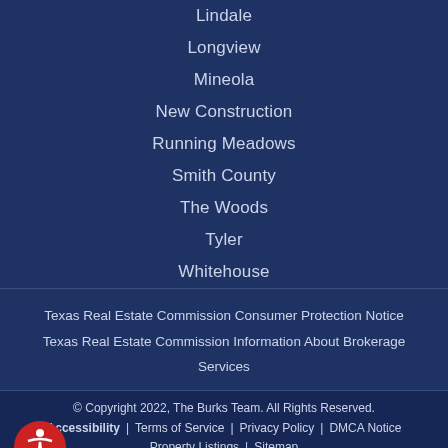Lindale
Longview
Mineola
New Construction
Running Meadows
Smith County
The Woods
Tyler
Whitehouse
Texas Real Estate Commission Consumer Protection Notice
Texas Real Estate Commission Information About Brokerage Services
© Copyright 2022, The Burks Team. All Rights Reserved. | Accessibility | Terms of Service | Privacy Policy | DMCA Notice | Property Listings | Sitemap | Real Estate Websites by Sierra Interactive